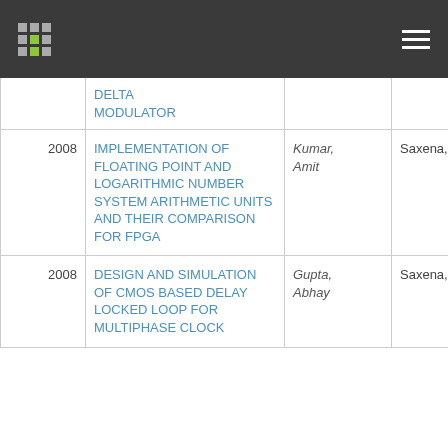| Year | Title | Author | Supervisor | Type |
| --- | --- | --- | --- | --- |
|  | DELTA MODULATOR |  |  |  |
| 2008 | IMPLEMENTATION OF FLOATING POINT AND LOGARITHMIC NUMBER SYSTEM ARITHMETIC UNITS AND THEIR COMPARISON FOR FPGA | Kumar, Amit | Saxena, A. K. | M.Tech Desserta |
| 2008 | DESIGN AND SIMULATION OF CMOS BASED DELAY LOCKED LOOP FOR MULTIPHASE CLOCK | Gupta, Abhay | Saxena, A. K. | M.Tech Desserta |